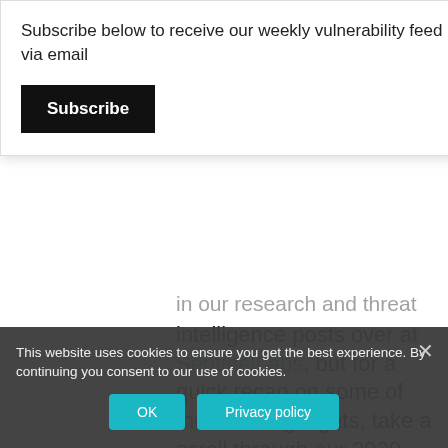Subscribe below to receive our weekly vulnerability feed via email
Subscribe
in our research and threat intelligence posts over at SentinelLabs, but for a quick recap on some of the main highlights, take a scroll through our 2020 timeline below.
[Figure (photo): Dark background image showing fireworks/sparkles with text 'SentinelLabs 2020 Review' overlaid and SentinelOne watermark]
This website uses cookies to ensure you get the best experience. By continuing you consent to our use of cookies.
OK    Privacy policy